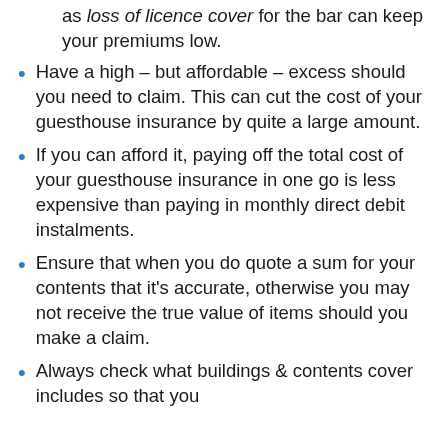as loss of licence cover for the bar can keep your premiums low.
Have a high – but affordable – excess should you need to claim. This can cut the cost of your guesthouse insurance by quite a large amount.
If you can afford it, paying off the total cost of your guesthouse insurance in one go is less expensive than paying in monthly direct debit instalments.
Ensure that when you do quote a sum for your contents that it's accurate, otherwise you may not receive the true value of items should you make a claim.
Always check what buildings & contents cover includes so that you